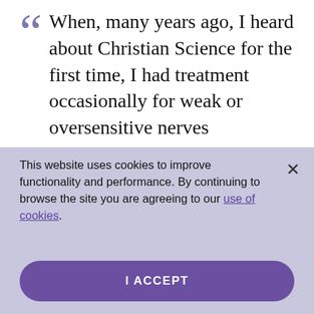When, many years ago, I heard about Christian Science for the first time, I had treatment occasionally for weak or oversensitive nerves
This website uses cookies to improve functionality and performance. By continuing to browse the site you are agreeing to our use of cookies.